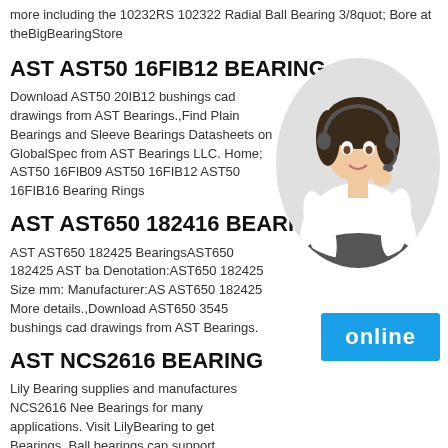more including the 10232RS 102322 Radial Ball Bearing 3/8quot; Bore at theBigBearingStore
AST AST50 16FIB12 BEARING
Download AST50 20IB12 bushings cad drawings from AST Bearings.,Find Plain Bearings and Sleeve Bearings Datasheets on GlobalSpec from AST Bearings LLC. Home; AST50 16FIB09 AST50 16FIB12 AST50 16FIB16 Bearing Rings
AST AST650 182416 BEARING
AST AST650 182425 BearingsAST650 182425 AST ba Denotation:AST650 182425 Size mm: Manufacturer:AS AST650 182425 More details.,Download AST650 3545 bushings cad drawings from AST Bearings.
[Figure (photo): Woman with headset smiling, customer service representative, circular cropped photo]
AST NCS2616 BEARING
Lily Bearing supplies and manufactures NCS2616 Needle Bearings for many applications. Visit LilyBearing to get Bearings.,Ball bearings can support moderate radial loads and moderate axial loads (parallel to the shaft). They can operate at high speeds. Ball bearings with shields or seals
[Figure (other): Blue button with white text reading 'online']
AST SCE66 BEARING
Review a list of Needle Roller Bearings Data Sheets from AST Bearings LLC on GlobalSpec.,Needle Roller Bearing. You are here: